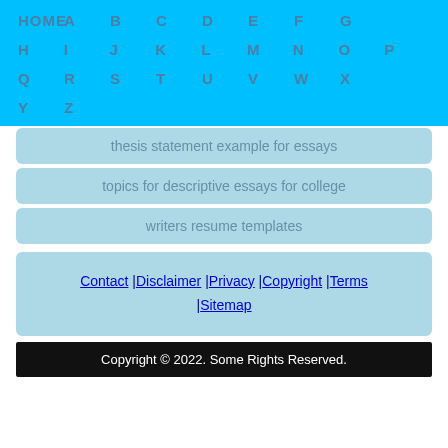HOME A B C D E F G H I J K L M N O P Q R S T U V W X Y Z
thesis statement example for essays
topics for descriptive essays for college
writers resume templates
Contact | Disclaimer | Privacy | Copyright | Terms | Sitemap
Copyright © 2022. Some Rights Reserved.